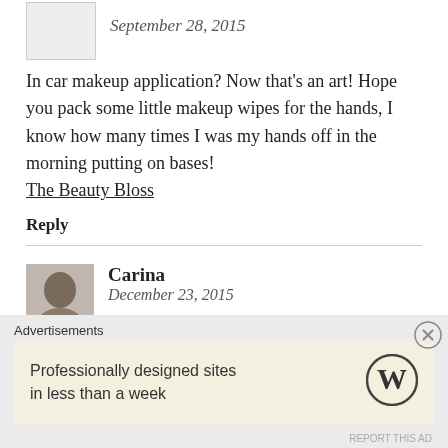September 28, 2015
In car makeup application? Now that’s an art! Hope you pack some little makeup wipes for the hands, I know how many times I was my hands off in the morning putting on bases! The Beauty Bloss
Reply
Carina
December 23, 2015
Ha! Only because I don’t drive. :p I keep forgetting makeup wipes and tissue, huhu
Reply
Advertisements
Professionally designed sites in less than a week